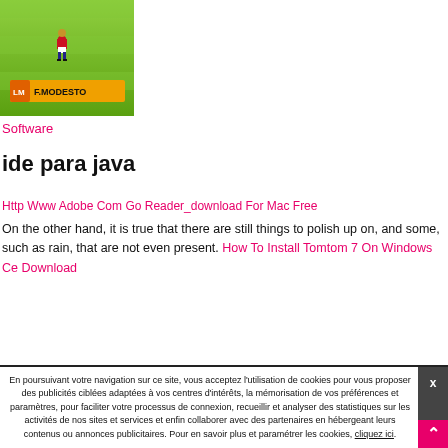[Figure (screenshot): Screenshot of a soccer/football video game showing a player on a green field with a name bar reading 'LM F.MODESTO']
Software
ide para java
Http Www Adobe Com Go Reader_download For Mac Free
On the other hand, it is true that there are still things to polish up on, and some, such as rain, that are not even present. How To Install Tomtom 7 On Windows Ce Download
En poursuivant votre navigation sur ce site, vous acceptez l'utilisation de cookies pour vous proposer des publicités ciblées adaptées à vos centres d'intérêts, la mémorisation de vos préférences et paramètres, pour faciliter votre processus de connexion, recueillir et analyser des statistiques sur les activités de nos sites et services et enfin collaborer avec des partenaires en hébergeant leurs contenus ou annonces publicitaires. Pour en savoir plus et paramétrer les cookies, cliquez ici.